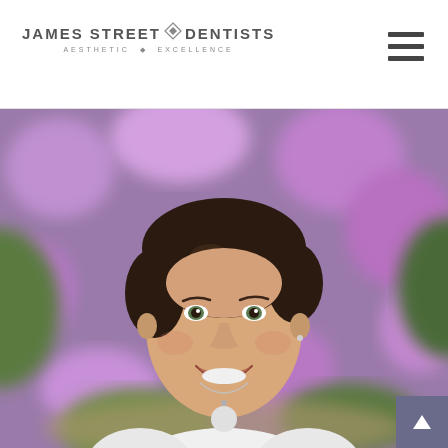[Figure (logo): James Street Dentists logo with text 'JAMES STREET' and 'DENTISTS' separated by a geometric diamond/cross divider, subtitle 'AESTHETIC EXCELLENCE']
[Figure (other): Hamburger menu icon (three horizontal bars) in top-right corner]
[Figure (photo): Portrait photo of a smiling middle-aged woman with short dark hair, wearing a white top, set against a blurred background of purple/pink flowers and green foliage. A scroll-to-top button appears in the bottom-right corner with a white upward arrow on a dark purple-gray background. A white pagination circle dot is visible at the bottom center.]